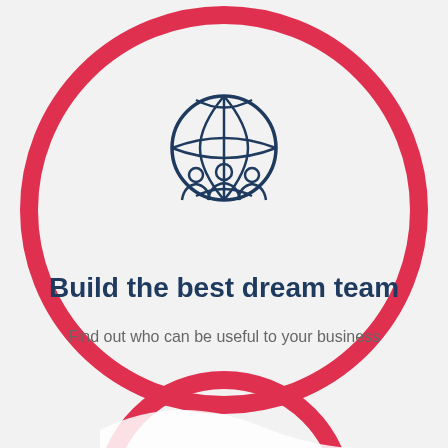[Figure (illustration): Large red circle ring centered near top of page with a team/globe icon (three people under a globe grid) in dark teal/navy outline style centered inside the top portion of the circle]
Build the best dream team
Find out who can be useful to your business
[Figure (illustration): Partial red circle ring visible at bottom of page, partially cut off, with a white curved shape inside]